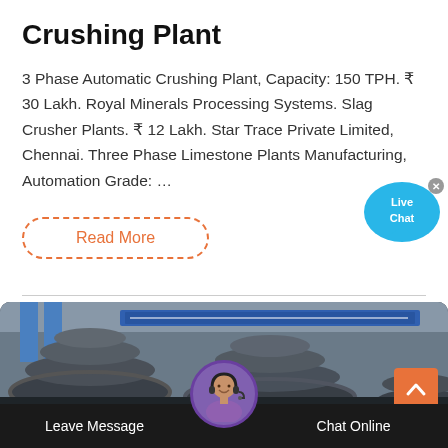Crushing Plant
3 Phase Automatic Crushing Plant, Capacity: 150 TPH. ₹ 30 Lakh. Royal Minerals Processing Systems. Slag Crusher Plants. ₹ 12 Lakh. Star Trace Private Limited, Chennai. Three Phase Limestone Plants Manufacturing, Automation Grade: …
Read More
[Figure (photo): Industrial crushing plant machinery with large metal cone crushers in a factory setting, with Chinese text banner visible in background]
Leave Message
Chat Online